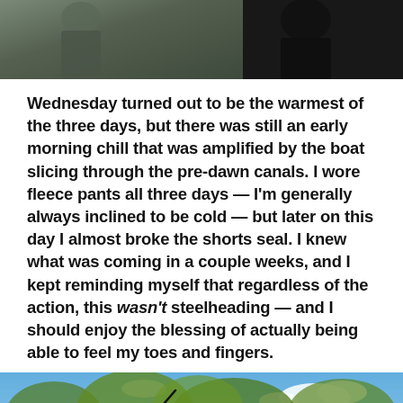[Figure (photo): Top portion of a photo showing two people, partially cropped. Dark background with outdoor/nature setting.]
Wednesday turned out to be the warmest of the three days, but there was still an early morning chill that was amplified by the boat slicing through the pre-dawn canals. I wore fleece pants all three days — I'm generally always inclined to be cold — but later on this day I almost broke the shorts seal. I knew what was coming in a couple weeks, and I kept reminding myself that regardless of the action, this wasn't steelheading — and I should enjoy the blessing of actually being able to feel my toes and fingers.
[Figure (photo): A man wearing a black cap, sunglasses, and a green t-shirt holding a fishing rod against a background of green trees and blue sky with clouds.]